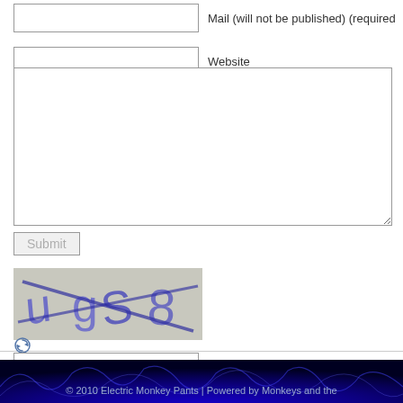[Figure (screenshot): Web form with Mail field, Website field, comment textarea, Submit button, CAPTCHA image showing distorted characters 'ugs 8', refresh icon, and CAPTCHA code input field]
© 2010 Electric Monkey Pants | Powered by Monkeys and the